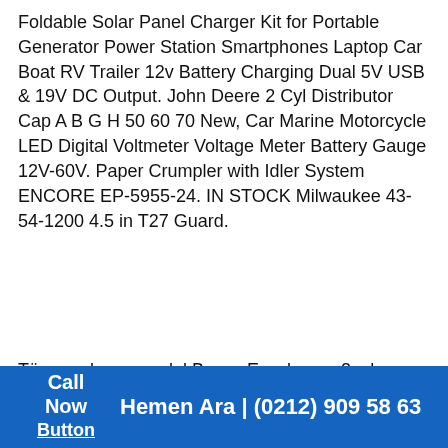Foldable Solar Panel Charger Kit for Portable Generator Power Station Smartphones Laptop Car Boat RV Trailer 12v Battery Charging Dual 5V USB & 19V DC Output. John Deere 2 Cyl Distributor Cap A B G H 50 60 70 New, Car Marine Motorcycle LED Digital Voltmeter Voltage Meter Battery Gauge 12V-60V. Paper Crumpler with Idler System ENCORE EP-5955-24. IN STOCK Milwaukee 43-54-1200 4.5 in T27 Guard.
Tüm marka ve model Beyaz Eşyalarınız 2 yıl garantili şekilde %100 Orijinal Parça Değişimi ile yapılmaktadır. 2001 Yılından bu
Call Now Button  Hemen Ara | (0212) 909 58 63